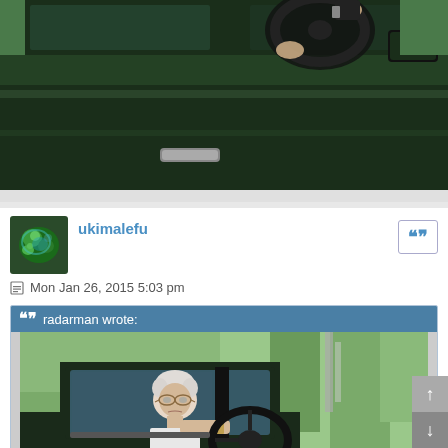[Figure (photo): Close-up photo of a dark green car door with a person's hands on the steering wheel visible through the window, side mirror visible, trees in background]
[Figure (photo): User avatar - green and blue iridescent beetle or similar insect]
ukimalefu
Mon Jan 26, 2015 5:03 pm
radarman wrote:
[Figure (photo): Elderly woman with white hair and glasses sitting in the driver's seat of a dark green car, holding the steering wheel, trees visible in background]